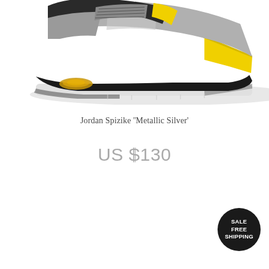[Figure (photo): Partial side view of a Jordan Spizike sneaker in Metallic Silver colorway with yellow and black accents, white sole, showing the bottom and mid portion of the shoe cropped at the top.]
Jordan Spizike 'Metallic Silver'
US $130
SALE FREE SHIPPING